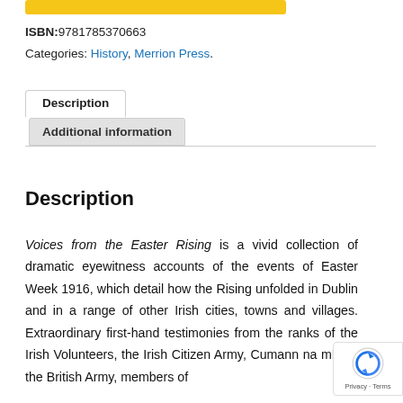ISBN:9781785370663
Categories: History, Merrion Press.
Description
Additional information
Description
Voices from the Easter Rising is a vivid collection of dramatic eyewitness accounts of the events of Easter Week 1916, which detail how the Rising unfolded in Dublin and in a range of other Irish cities, towns and villages. Extraordinary first-hand testimonies from the ranks of the Irish Volunteers, the Irish Citizen Army, Cumann na mBan, the British Army, members of